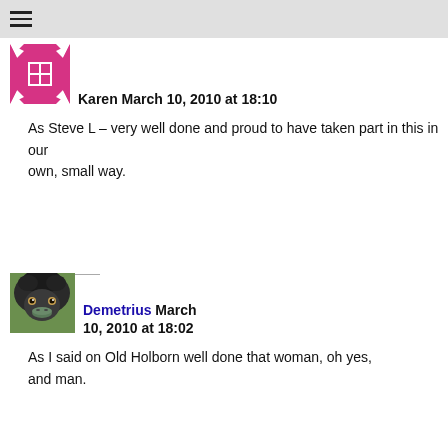≡
[Figure (illustration): Pink/magenta geometric tile avatar for user Karen]
Karen March 10, 2010 at 18:10
As Steve L – very well done and proud to have taken part in this in our own, small way.
[Figure (photo): Close-up photo of an emu face for user Demetrius]
Demetrius March 10, 2010 at 18:02
As I said on Old Holborn well done that woman, oh yes, and man.